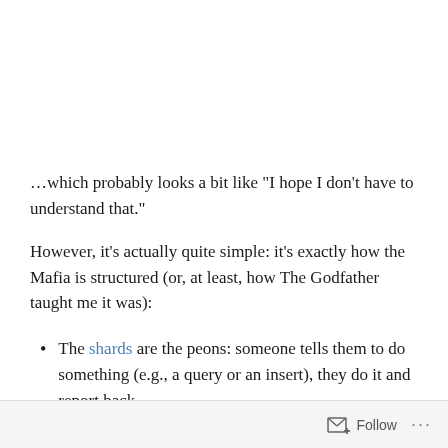…which probably looks a bit like “I hope I don’t have to understand that.”
However, it’s actually quite simple: it’s exactly how the Mafia is structured (or, at least, how The Godfather taught me it was):
The shards are the peons: someone tells them to do something (e.g., a query or an insert), they do it and report back.
Follow